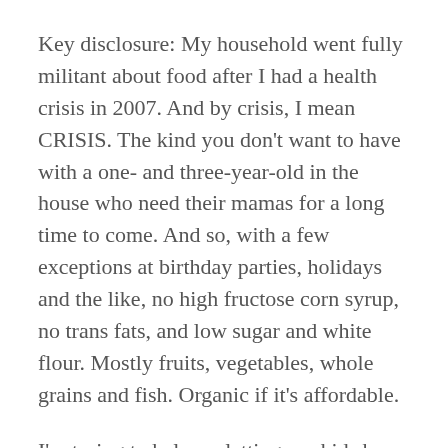Key disclosure: My household went fully militant about food after I had a health crisis in 2007. And by crisis, I mean CRISIS. The kind you don't want to have with a one- and three-year-old in the house who need their mamas for a long time to come. And so, with a few exceptions at birthday parties, holidays and the like, no high fructose corn syrup, no trans fats, and low sugar and white flour. Mostly fruits, vegetables, whole grains and fish. Organic if it's affordable.
I'm trying to balance letting my kids be 'normal' children who love to eat sweets and enjoy ice cream and cookies once in while with eating patterns that become habits that last a lifetime. My own parents' permissiveness about cakes, cookies and candy translated into a lifelong sugar addiction which I